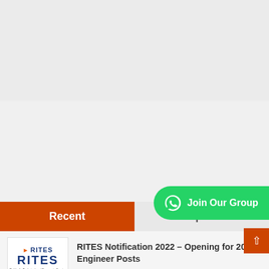Recent | Popular
RITES Notification 2022 – Opening for 20 Engineer Posts
August 29, 2022
NHM MP Notification 2022 – Opening for 40 C...
August 29, 2022
Canara Bank Securities Ltd Notification 2022 – Opening for